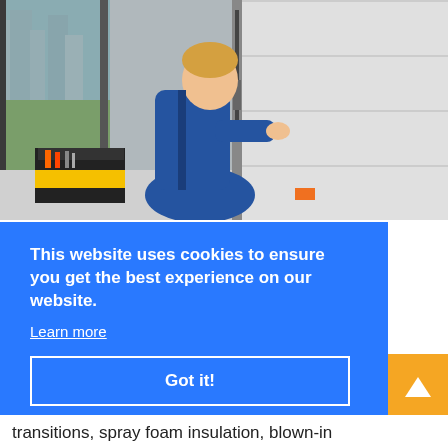[Figure (photo): A technician in a blue jumpsuit kneeling and working on a garage door track mechanism. A tool bag is on the floor to the left. A window with a city view is visible in the background.]
This website uses cookies to ensure you get the best experience on our website.
Learn more
Got it!
transitions, spray foam insulation, blown-in